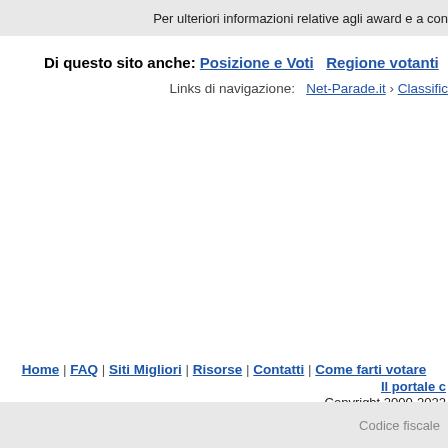Per ulteriori informazioni relative agli award e a con
Di questo sito anche: Posizione e Voti  Regione votanti  Macchina
Links di navigazione:  Net-Parade.it › Classific
Home | FAQ | Siti Migliori | Risorse | Contatti | Come farti votare
Il portale c
Copyright 2000-2022
Codice fiscale